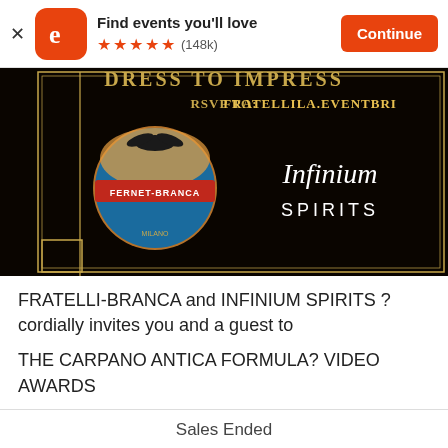Find events you'll love ★★★★★ (148k) Continue
[Figure (photo): Event promotional image on black background showing Fernet-Branca logo (circular badge with eagle and globe) and Infinium Spirits logo, with gold text: DRESS TO IMPRESS, RSVP TO: FRATELLILA.EVENTBRI...]
FRATELLI-BRANCA and INFINIUM SPIRITS ?cordially invites you and a guest to
THE CARPANO ANTICA FORMULA? VIDEO AWARDS
Sales Ended
Details